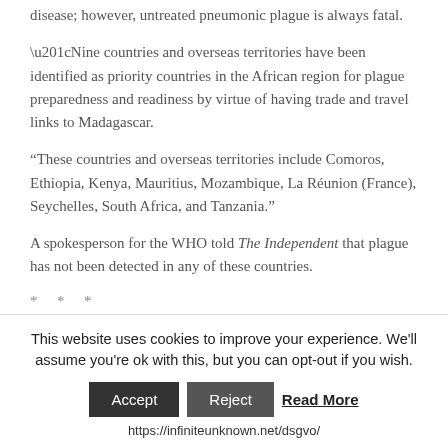disease; however, untreated pneumonic plague is always fatal.
“Nine countries and overseas territories have been identified as priority countries in the African region for plague preparedness and readiness by virtue of having trade and travel links to Madagascar.
“These countries and overseas territories include Comoros, Ethiopia, Kenya, Mauritius, Mozambique, La Réunion (France), Seychelles, South Africa, and Tanzania.”
A spokesperson for the WHO told The Independent that plague has not been detected in any of these countries.
* * *
PayPal: Donate in USD
PayPal: Donate in EUR
This website uses cookies to improve your experience. We'll assume you're ok with this, but you can opt-out if you wish.
Accept  Reject  Read More
https://infiniteunknown.net/dsgvo/